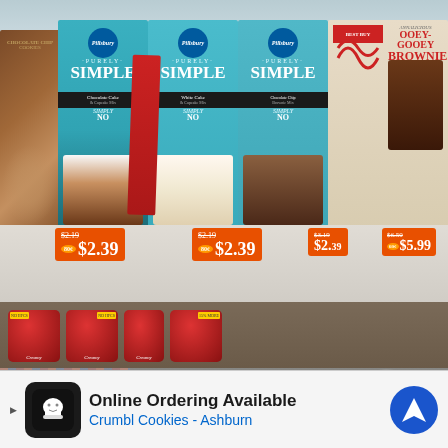[Figure (photo): Grocery store shelf photo showing Pillsbury Purely Simple cake mix boxes (chocolate cake, white cake, chocolate chip varieties), a red box leaning against them, price tags showing $2.39 and $3.19/$5.99, Duncan Hines Creamy frosting containers in red tubs on lower shelf, bottom-left shows another store aisle with products, right side shows aisle 8 sign with categories COOKING OIL, BAKING NEEDS, KITCHEN, JELLO. UI overlay elements include heart and share buttons. A 'WHAT'S NEXT' banner shows 'Easy Veggie Pasta Bake'.]
WHAT'S NEXT → Easy Veggie Pasta Bake
aisle 8
COOKING OIL
BAKING NEEDS
JELLO
Online Ordering Available
Crumbl Cookies - Ashburn